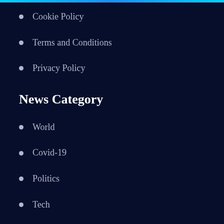Cookie Policy
Terms and Conditions
Privacy Policy
News Category
World
Covid-19
Politics
Tech
Business
Entertainment